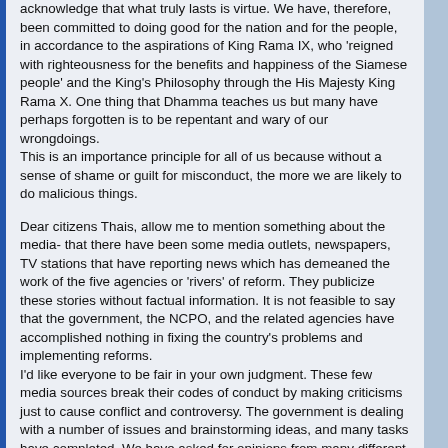acknowledge that what truly lasts is virtue. We have, therefore, been committed to doing good for the nation and for the people, in accordance to the aspirations of King Rama IX, who 'reigned with righteousness for the benefits and happiness of the Siamese people' and the King's Philosophy through the His Majesty King Rama X. One thing that Dhamma teaches us but many have perhaps forgotten is to be repentant and wary of our wrongdoings. This is an importance principle for all of us because without a sense of shame or guilt for misconduct, the more we are likely to do malicious things.
Dear citizens Thais, allow me to mention something about the media- that there have been some media outlets, newspapers, TV stations that have reporting news which has demeaned the work of the five agencies or 'rivers' of reform. They publicize these stories without factual information. It is not feasible to say that the government, the NCPO, and the related agencies have accomplished nothing in fixing the country's problems and implementing reforms. I'd like everyone to be fair in your own judgment. These few media sources break their codes of conduct by making criticisms just to cause conflict and controversy. The government is dealing with a number of issues and brainstorming ideas, and many tasks have completed. We have asked for opinions from many different sides. We don't just come to conclusions without listening to others. It is mistake to assume that it is just the military that are considering matters as the private sector and civil servants have been fully involved as well.